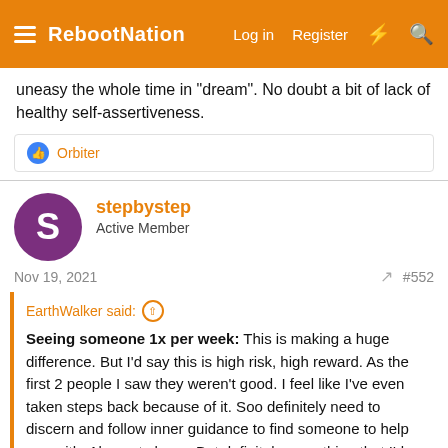RebootNation | Log in | Register
uneasy the whole time in "dream". No doubt a bit of lack of healthy self-assertiveness.
Orbiter
stepbystep
Active Member
Nov 19, 2021   #552
EarthWalker said:
Seeing someone 1x per week: This is making a huge difference. But I'd say this is high risk, high reward. As the first 2 people I saw they weren't good. I feel like I've even taken steps back because of it. Soo definitely need to discern and follow inner guidance to find someone to help you with. Also not cheap. But definitely something that I'd say was necessary for my progress. I couldn't have done it without this. Or alternative I'd still be a few years behind if just doing this work on my own.